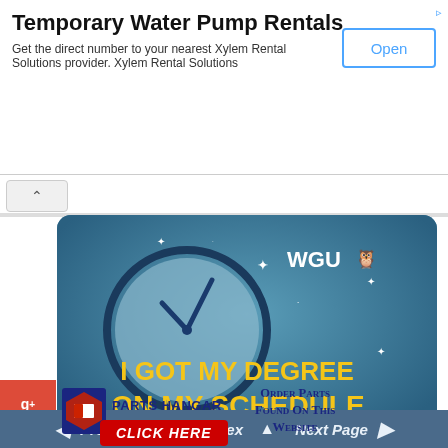Temporary Water Pump Rentals
Get the direct number to your nearest Xylem Rental Solutions provider. Xylem Rental Solutions
[Figure (screenshot): Open button for ad]
[Figure (illustration): WGU advertisement banner with clock illustration and text: I GOT MY DEGREE ON MY SCHEDULE.]
[Figure (logo): Parts Hangar logo with red and blue graphic]
PARTS HANGAR
Order Parts Found On This Website
CLICK HERE
Previous Page   Index   Next Page